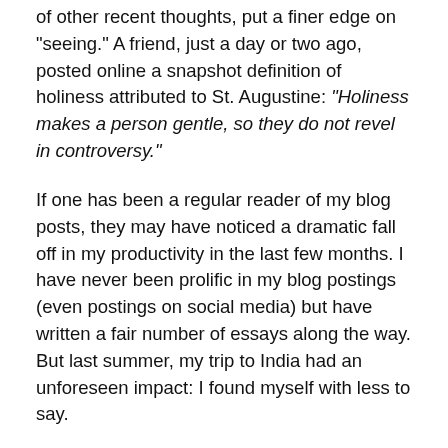of other recent thoughts, put a finer edge on "seeing." A friend, just a day or two ago, posted online a snapshot definition of holiness attributed to St. Augustine: “Holiness makes a person gentle, so they do not revel in controversy.”
If one has been a regular reader of my blog posts, they may have noticed a dramatic fall off in my productivity in the last few months. I have never been prolific in my blog postings (even postings on social media) but have written a fair number of essays along the way. But last summer, my trip to India had an unforeseen impact: I found myself with less to say.
I have wanted to write on a number of concerns, especially on the woeful decline of the American church, but find most online discussions and debates tiresome. My concern is the reflection that failure of the Amer...